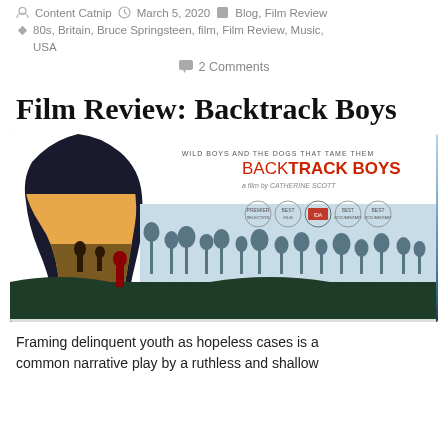Content Catnip  March 5, 2020  Blog, Film Review
80s, Britain, Bruce Springsteen, film, Film Review, Music, USA
2 Comments
Film Review: Backtrack Boys
[Figure (photo): Movie poster for Backtrack Boys documentary. Shows a silhouette of a dog (kelpie) with outback landscape inside. Text reads: WILD BOYS AND THE DOGS THAT TAME THEM / BACKTRACK BOYS / A FILM BY CATHERINE SCOTT. Several film festival laurels shown.]
Framing delinquent youth as hopeless cases is a common narrative play by a ruthless and shallow